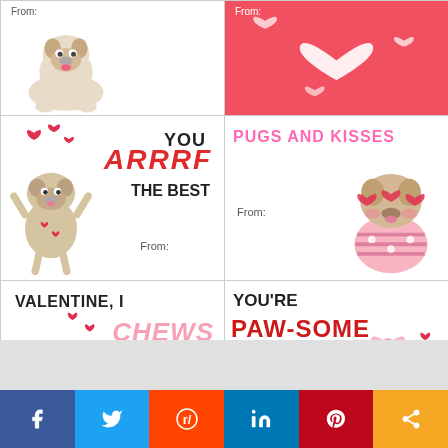[Figure (illustration): Grid of 6 Valentine's Day dog-themed cards with pugs/bulldogs. Cards include: 'From:' with bulldog, red heart card, 'YOU ARRRF THE BEST From:', 'PUGS AND KISSES From:', 'VALENTINE, I CHEWS YOU From:', 'YOU'RE PAW-SOME From: Love']
[Figure (other): Social sharing bar with Facebook, Twitter, Reddit, LinkedIn, Pinterest, and share icons]